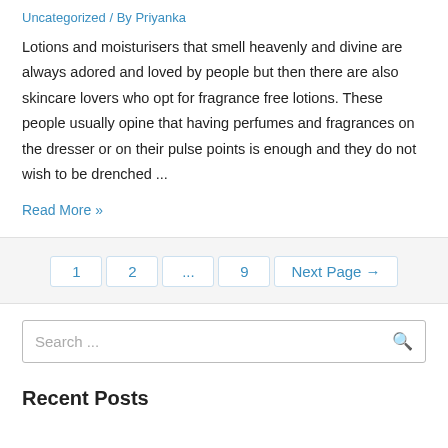Uncategorized / By Priyanka
Lotions and moisturisers that smell heavenly and divine are always adored and loved by people but then there are also skincare lovers who opt for fragrance free lotions. These people usually opine that having perfumes and fragrances on the dresser or on their pulse points is enough and they do not wish to be drenched ...
Read More »
1  2  ...  9  Next Page →
Search ...
Recent Posts